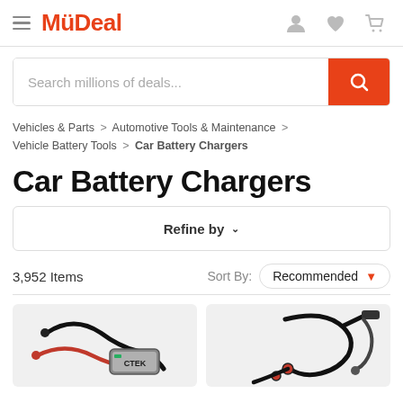MyDeal
Search millions of deals...
Vehicles & Parts > Automotive Tools & Maintenance > Vehicle Battery Tools > Car Battery Chargers
Car Battery Chargers
Refine by
3,952 Items  Sort By: Recommended
[Figure (photo): Two car battery charger product thumbnail images]